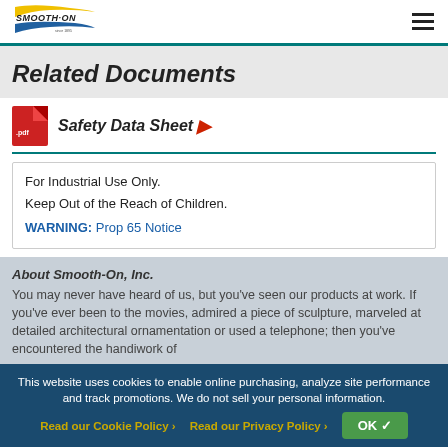Smooth-On logo and navigation menu
Related Documents
Safety Data Sheet
For Industrial Use Only.
Keep Out of the Reach of Children.
WARNING: Prop 65 Notice
About Smooth-On, Inc.
You may never have heard of us, but you've seen our products at work. If you've ever been to the movies, admired a piece of sculpture, marveled at detailed architectural ornamentation or used a telephone; then you've encountered the handiwork of
This website uses cookies to enable online purchasing, analyze site performance and track promotions. We do not sell your personal information.
Read our Cookie Policy ›   Read our Privacy Policy ›   OK ✓